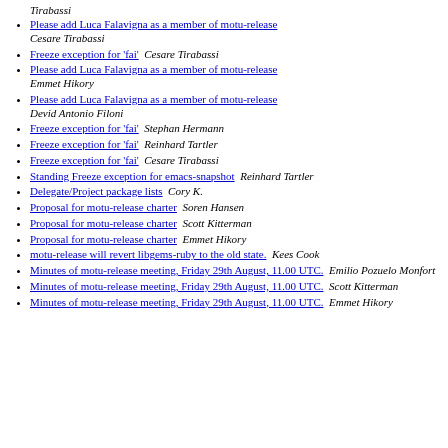Tirabassi
Please add Luca Falavigna as a member of motu-release  Cesare Tirabassi
Freeze exception for 'fai'  Cesare Tirabassi
Please add Luca Falavigna as a member of motu-release  Emmet Hikory
Please add Luca Falavigna as a member of motu-release  Devid Antonio Filoni
Freeze exception for 'fai'  Stephan Hermann
Freeze exception for 'fai'  Reinhard Tartler
Freeze exception for 'fai'  Cesare Tirabassi
Standing Freeze exception for emacs-snapshot  Reinhard Tartler
Delegate/Project package lists  Cory K.
Proposal for motu-release charter  Soren Hansen
Proposal for motu-release charter  Scott Kitterman
Proposal for motu-release charter  Emmet Hikory
motu-release will revert libgems-ruby to the old state.  Kees Cook
Minutes of motu-release meeting, Friday 29th August, 11.00 UTC.  Emilio Pozuelo Monfort
Minutes of motu-release meeting, Friday 29th August, 11.00 UTC.  Scott Kitterman
Minutes of motu-release meeting, Friday 29th August, 11.00 UTC.  Emmet Hikory